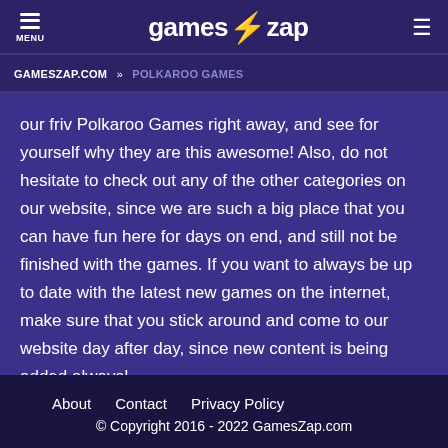MENU | games⚡zap
GAMESZAP.COM » POLKAROO GAMES
our friv Polkaroo Games right away, and see for yourself why they are this awesome! Also, do not hesitate to check out any of the other categories on our website, since we are such a big place that you can have fun here for days on end, and still not be finished with the games. If you want to always be up to date with the latest new games on the internet, make sure that you stick around and come to our website day after day, since new content is being added always!
About   Contact   Privacy Policy
© Copyright 2016 - 2022 GamesZap.com